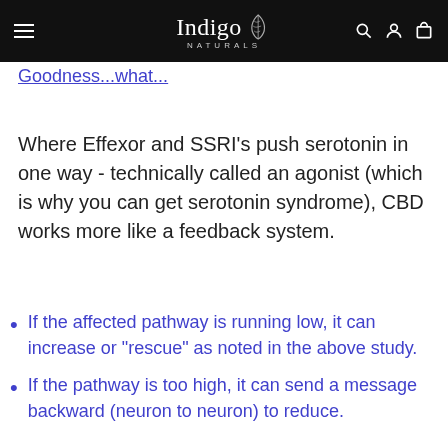Indigo Naturals
Goodness...what...
Where Effexor and SSRI's push serotonin in one way - technically called an agonist (which is why you can get serotonin syndrome), CBD works more like a feedback system.
If the affected pathway is running low, it can increase or "rescue" as noted in the above study.
If the pathway is too high, it can send a message backward (neuron to neuron) to reduce.